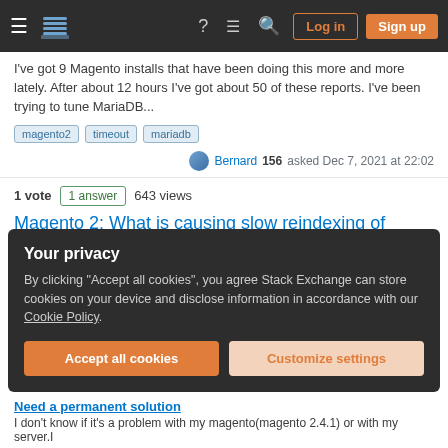Stack Exchange navigation bar with hamburger menu, logo, help, chat, search icons, Log in and Sign up buttons
I've got 9 Magento installs that have been doing this more and more lately. After about 12 hours I've got about 50 of these reports. I've been trying to tune MariaDB...
magento2
timeout
mariadb
Bernard 156 asked Dec 7, 2021 at 22:02
1 vote  1 answer  643 views
Magento 2: What is causing slow reindexing of catalogsearch_fulltext with large catalog?
We have 400k line items, so I expect things to take a little while, but reindexing has started taking days, and often errors out in the middle. Checking in the database...
magento2
reindex
mariadb
Your privacy
By clicking "Accept all cookies", you agree Stack Exchange can store cookies on your device and disclose information in accordance with our Cookie Policy.
Accept all cookies
Customize settings
Need a permanent solution
I don't know if it's a problem with my magento(magento 2.4.1) or with my server.I